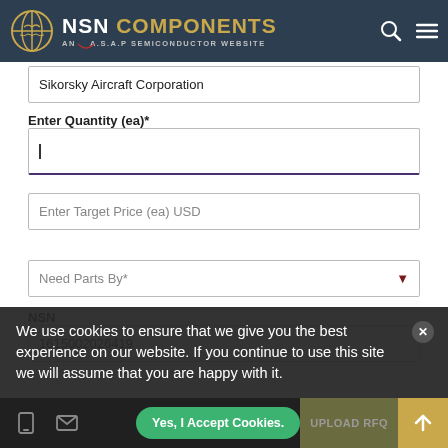[Figure (screenshot): NSN Components website header with globe logo, 'NSN COMPONENTS AN A.S.A.P SEMICONDUCTOR WEBSITE' text, search and menu icons on dark background]
Sikorsky Aircraft Corporation
Enter Quantity (ea)*
Enter Target Price (ea) USD
Need Parts By*
NSN
1615002026419
We use cookies to ensure that we give you the best experience on our website. If you continue to use this site we will assume that you are happy with it.
Yes, I Accept Cookies.
UPLOAD RFQ